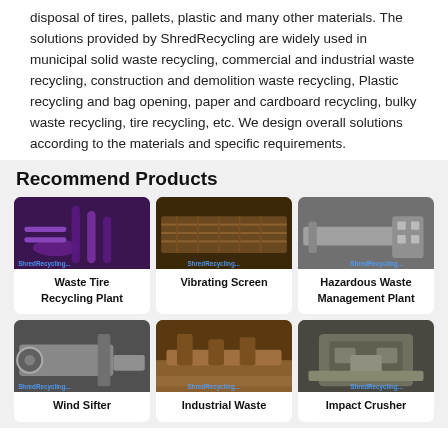disposal of tires, pallets, plastic and many other materials. The solutions provided by ShredRecycling are widely used in municipal solid waste recycling, commercial and industrial waste recycling, construction and demolition waste recycling, Plastic recycling and bag opening, paper and cardboard recycling, bulky waste recycling, tire recycling, etc. We design overall solutions according to the materials and specific requirements.
Recommend Products
[Figure (photo): Waste Tire Recycling Plant machinery with purple conveyors]
Waste Tire Recycling Plant
[Figure (photo): Vibrating Screen industrial equipment]
Vibrating Screen
[Figure (photo): Hazardous Waste Management Plant conveyor system]
Hazardous Waste Management Plant
[Figure (photo): Wind Sifter industrial machine]
Wind Sifter
[Figure (photo): Industrial Waste processing facility]
Industrial Waste
[Figure (photo): Impact Crusher machine in factory]
Impact Crusher